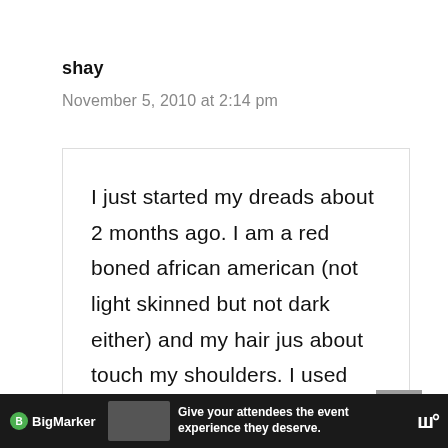shay
November 5, 2010 at 2:14 pm
I just started my dreads about 2 months ago. I am a red boned african american (not light skinned but not dark either) and my hair jus about touch my shoulders. I used the comb method where you gather about an inch or 2 of hair
[Figure (screenshot): Advertisement bar at bottom for BigMarker with text: Give your attendees the event experience they deserve.]